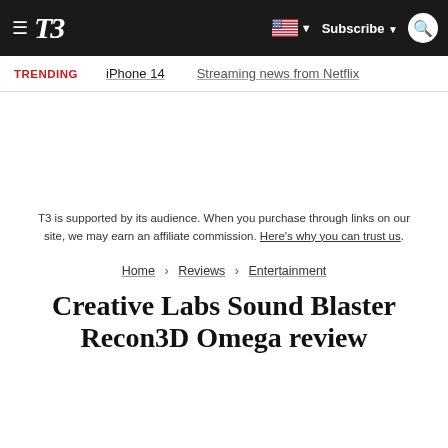T3 | Subscribe | Search
TRENDING   iPhone 14   Streaming news from Netflix
T3 is supported by its audience. When you purchase through links on our site, we may earn an affiliate commission. Here's why you can trust us.
Home > Reviews > Entertainment
Creative Labs Sound Blaster Recon3D Omega review